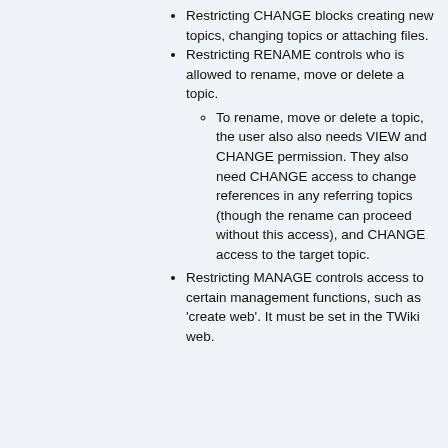Restricting CHANGE blocks creating new topics, changing topics or attaching files.
Restricting RENAME controls who is allowed to rename, move or delete a topic.
To rename, move or delete a topic, the user also also needs VIEW and CHANGE permission. They also need CHANGE access to change references in any referring topics (though the rename can proceed without this access), and CHANGE access to the target topic.
Restricting MANAGE controls access to certain management functions, such as 'create web'. It must be set in the TWiki web.